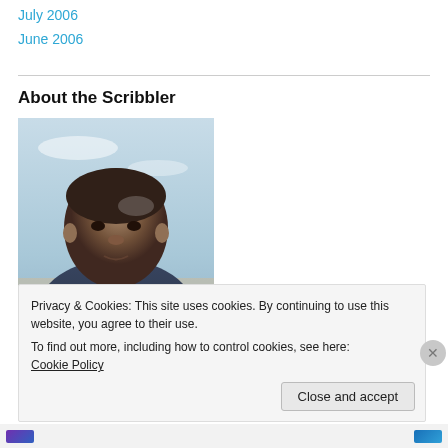July 2006
June 2006
About the Scribbler
[Figure (photo): Portrait photo of a bald man outdoors with sky in background, wearing a dark shirt]
Privacy & Cookies: This site uses cookies. By continuing to use this website, you agree to their use.
To find out more, including how to control cookies, see here: Cookie Policy
Close and accept